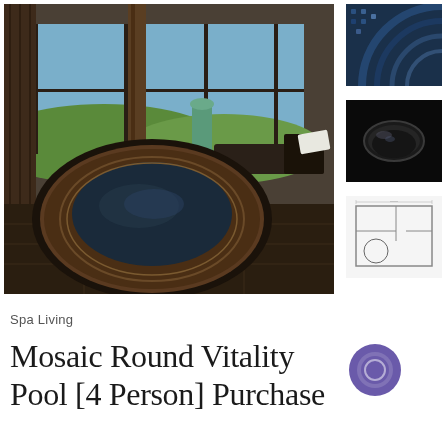[Figure (photo): Large indoor spa photo showing a circular mosaic vitality pool in dark stone/tile with floor-to-ceiling windows overlooking green hills. Lounge chairs and a green ceramic vase visible in background.]
[Figure (photo): Small thumbnail: close-up of mosaic tile pattern in deep blue.]
[Figure (photo): Small thumbnail: dark background with a dark metallic/glass bowl.]
[Figure (schematic): Small thumbnail: technical floor plan / engineering drawing of the pool layout.]
Spa Living
Mosaic Round Vitality Pool [4 Person] Purchase